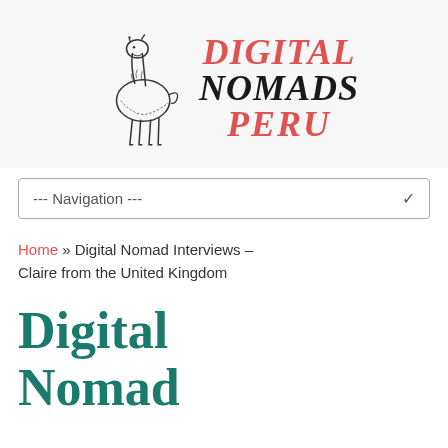[Figure (logo): Digital Nomads Peru logo with a llama illustration on the left and the brand name 'DIGITAL NOMADS PERU' in red and black serif text on the right]
--- Navigation ---
Home » Digital Nomad Interviews – Claire from the United Kingdom
Digital Nomad